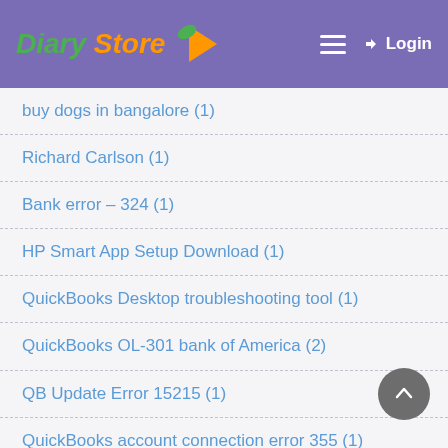Diary Store — Login
buy dogs in bangalore (1)
Richard Carlson (1)
Bank error – 324 (1)
HP Smart App Setup Download (1)
QuickBooks Desktop troubleshooting tool (1)
QuickBooks OL-301 bank of America (2)
QB Update Error 15215 (1)
QuickBooks account connection error 355 (1)
medical emergency (1)
QuickBooks Warning Message Error Code 6000 77 (1)
Mother Theresa (1)
Travis Bradberry (1)